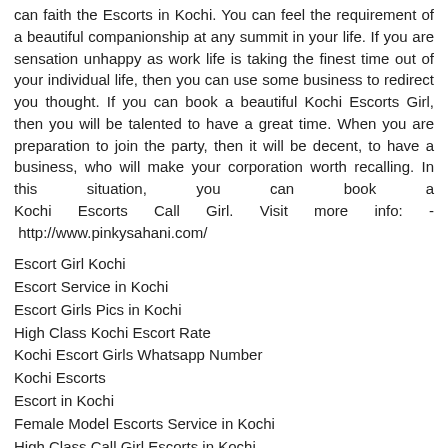can faith the Escorts in Kochi. You can feel the requirement of a beautiful companionship at any summit in your life. If you are sensation unhappy as work life is taking the finest time out of your individual life, then you can use some business to redirect you thought. If you can book a beautiful Kochi Escorts Girl, then you will be talented to have a great time. When you are preparation to join the party, then it will be decent, to have a business, who will make your corporation worth recalling. In this situation, you can book a Kochi Escorts Call Girl. Visit more info: - http://www.pinkysahani.com/
Escort Girl Kochi
Escort Service in Kochi
Escort Girls Pics in Kochi
High Class Kochi Escort Rate
Kochi Escort Girls Whatsapp Number
Kochi Escorts
Escort in Kochi
Female Model Escorts Service in Kochi
High Class Call Girl Escorts in Kochi
Call Girls Escorts in Kochi
Independent Kochi Escorts